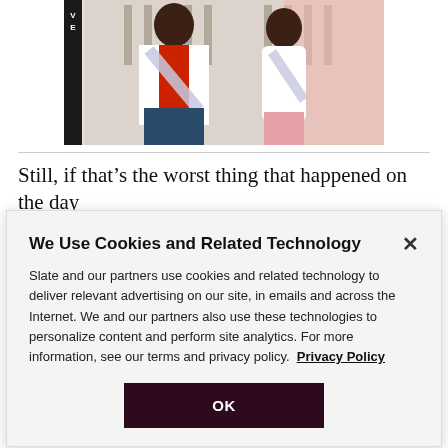[Figure (photo): Fashion photo of two people posing; one wearing a red and white varsity jacket with a sash, one in a white outfit. A magazine logo is visible on the left edge of the image.]
Still, if that’s the worst thing that happened on the day
We Use Cookies and Related Technology

Slate and our partners use cookies and related technology to deliver relevant advertising on our site, in emails and across the Internet. We and our partners also use these technologies to personalize content and perform site analytics. For more information, see our terms and privacy policy. Privacy Policy

OK